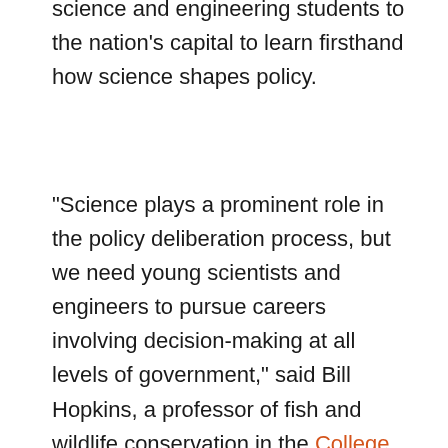science and engineering students to the nation's capital to learn firsthand how science shapes policy.
“Science plays a prominent role in the policy deliberation process, but we need young scientists and engineers to pursue careers involving decision-making at all levels of government,” said Bill Hopkins, a professor of fish and wildlife conservation in the College of Natural Resources and Environment and director of the Global Change Center.